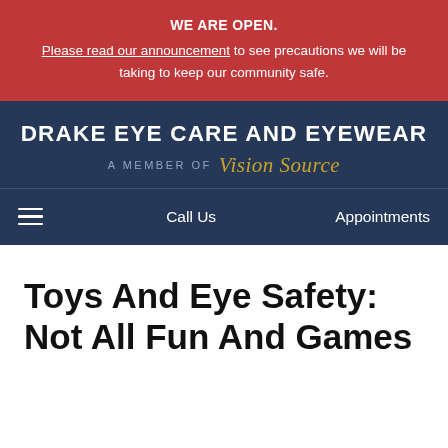WE ARE OPEN. Please read our announcement to see precautions we will be taking to keep our community safe.
DRAKE EYE CARE AND EYEWEAR — A MEMBER OF Vision Source
Call Us   Appointments
Toys And Eye Safety: Not All Fun And Games